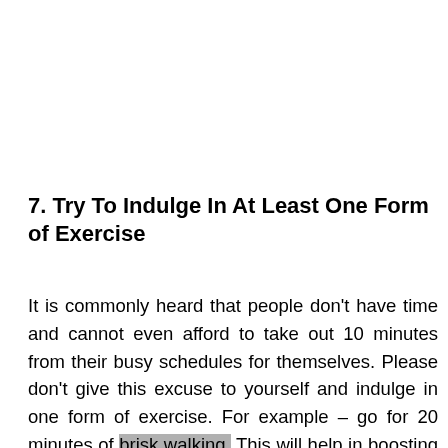7. Try To Indulge In At Least One Form of Exercise
It is commonly heard that people don't have time and cannot even afford to take out 10 minutes from their busy schedules for themselves. Please don't give this excuse to yourself and indulge in one form of exercise. For example – go for 20 minutes of brisk walking. This will help in boosting your metabolism and will burn some calories.